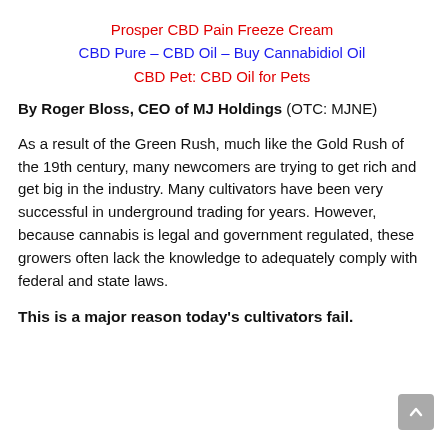Prosper CBD Pain Freeze Cream
CBD Pure – CBD Oil – Buy Cannabidiol Oil
CBD Pet: CBD Oil for Pets
By Roger Bloss, CEO of MJ Holdings (OTC: MJNE)
As a result of the Green Rush, much like the Gold Rush of the 19th century, many newcomers are trying to get rich and get big in the industry. Many cultivators have been very successful in underground trading for years. However, because cannabis is legal and government regulated, these growers often lack the knowledge to adequately comply with federal and state laws.
This is a major reason today's cultivators fail.